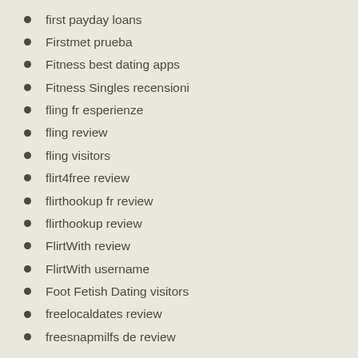first payday loans
Firstmet prueba
Fitness best dating apps
Fitness Singles recensioni
fling fr esperienze
fling review
fling visitors
flirt4free review
flirthookup fr review
flirthookup review
FlirtWith review
FlirtWith username
Foot Fetish Dating visitors
freelocaldates review
freesnapmilfs de review